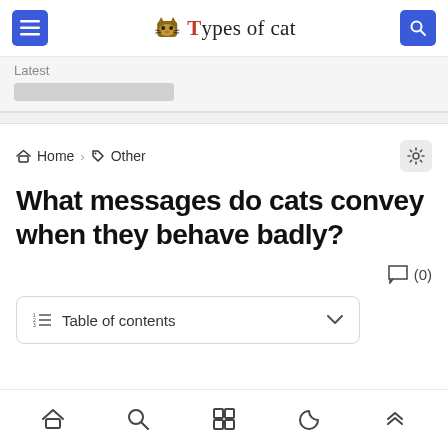Types of cat
Latest
Home > Other
What messages do cats convey when they behave badly?
(0)
Table of contents